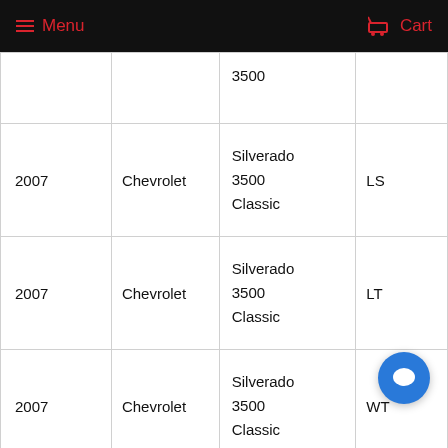Menu  Cart
| Year | Make | Model | Trim |
| --- | --- | --- | --- |
|  |  | 3500 |  |
| 2007 | Chevrolet | Silverado 3500 Classic | LS |
| 2007 | Chevrolet | Silverado 3500 Classic | LT |
| 2007 | Chevrolet | Silverado 3500 Classic | WT |
| 2007 2013 | Chevrolet | Silverado | LT |